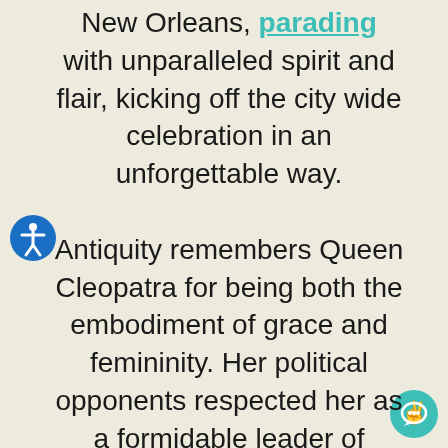New Orleans, parading with unparalleled spirit and flair, kicking off the city wide celebration in an unforgettable way.

Antiquity remembers Queen Cleopatra for being both the embodiment of grace and femininity. Her political opponents respected her as a formidable leader of strong will. The members of the Krewe of Cleopatra community look to these